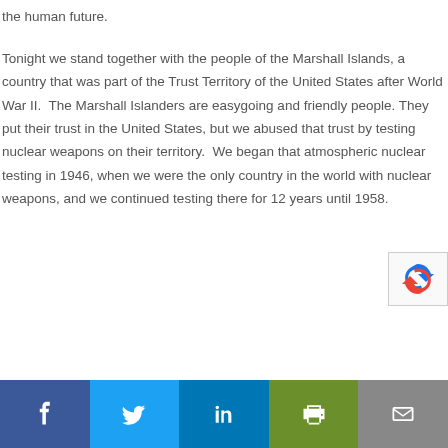the human future.
Tonight we stand together with the people of the Marshall Islands, a country that was part of the Trust Territory of the United States after World War II.  The Marshall Islanders are easygoing and friendly people. They put their trust in the United States, but we abused that trust by testing nuclear weapons on their territory.  We began that atmospheric nuclear testing in 1946, when we were the only country in the world with nuclear weapons, and we continued testing there for 12 years until 1958.
[Figure (other): Social sharing bar with Facebook, Twitter, LinkedIn, Print, and Email buttons]